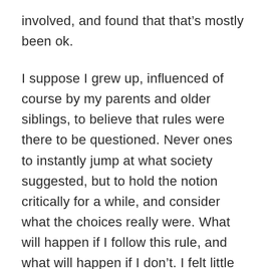involved, and found that that's mostly been ok.
I suppose I grew up, influenced of course by my parents and older siblings, to believe that rules were there to be questioned. Never ones to instantly jump at what society suggested, but to hold the notion critically for a while, and consider what the choices really were. What will happen if I follow this rule, and what will happen if I don't. I felt little pressure from them to conform majorly to any female stereotypes either. So this is the attitude that I've had about doing certain “girl” things. If I wasn't interested, and it looked like nothing bad